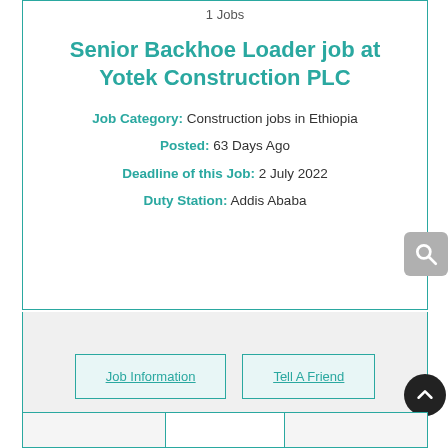1 Jobs
Senior Backhoe Loader job at Yotek Construction PLC
Job Category: Construction jobs in Ethiopia
Posted: 63 Days Ago
Deadline of this Job: 2 July 2022
Duty Station: Addis Ababa
Job Information
Tell A Friend